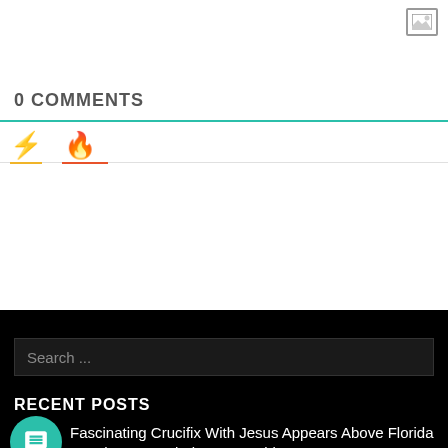[Figure (illustration): Image placeholder icon (grey border with mountain/photo symbol) in top-right corner]
0 COMMENTS
[Figure (illustration): Two tab icons: a yellow lightning bolt and an orange-red flame, with colored underlines below each]
Search ...
RECENT POSTS
[Figure (illustration): Teal circular chat bubble icon]
Fascinating Crucifix With Jesus Appears Above Florida Beach Surrounded In Heart!video